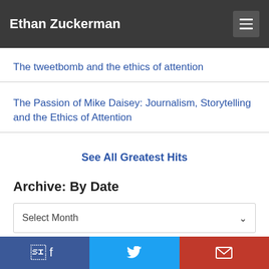Ethan Zuckerman
The tweetbomb and the ethics of attention
The Passion of Mike Daisey: Journalism, Storytelling and the Ethics of Attention
See All Greatest Hits
Archive: By Date
Select Month
Archive: By Category
Facebook | Twitter | Email